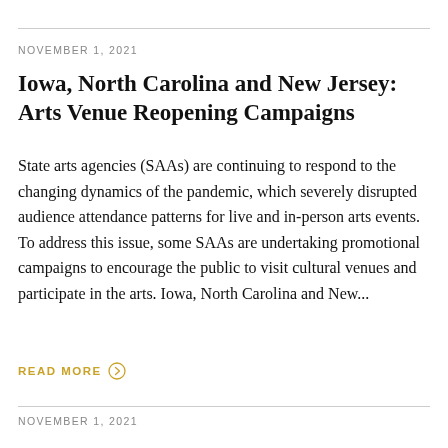NOVEMBER 1, 2021
Iowa, North Carolina and New Jersey: Arts Venue Reopening Campaigns
State arts agencies (SAAs) are continuing to respond to the changing dynamics of the pandemic, which severely disrupted audience attendance patterns for live and in-person arts events. To address this issue, some SAAs are undertaking promotional campaigns to encourage the public to visit cultural venues and participate in the arts. Iowa, North Carolina and New...
READ MORE
NOVEMBER 1, 2021